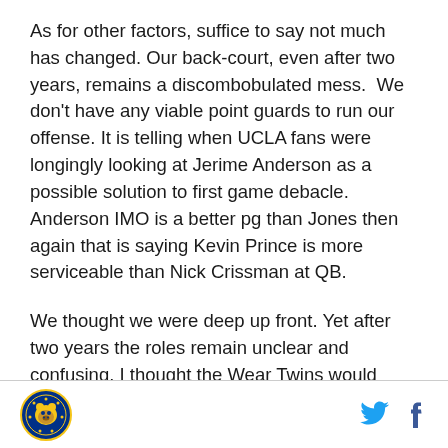As for other factors, suffice to say not much has changed. Our back-court, even after two years, remains a discombobulated mess.  We don't have any viable point guards to run our offense. It is telling when UCLA fans were longingly looking at Jerime Anderson as a possible solution to first game debacle. Anderson IMO is a better pg than Jones then again that is saying Kevin Prince is more serviceable than Nick Crissman at QB.
We thought we were deep up front. Yet after two years the roles remain unclear and confusing. I thought the Wear Twins would provide decent depth for the team. I didn't anticipate that they would emerge as Howland's
[logo] [twitter] [facebook]